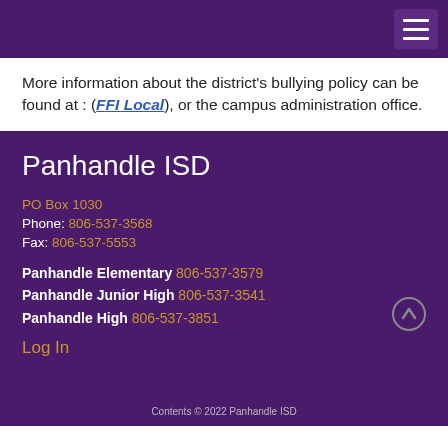Panhandle ISD website header navigation
More information about the district's bullying policy can be found at : (FFI Local), or the campus administration office.
Panhandle ISD
PO Box 1030
Phone: 806-537-3568
Fax: 806-537-5553
Panhandle Elementary 806-537-3579
Panhandle Junior High 806-537-3541
Panhandle High 806-537-3851
Log In
Contents © 2022 Panhandle ISD